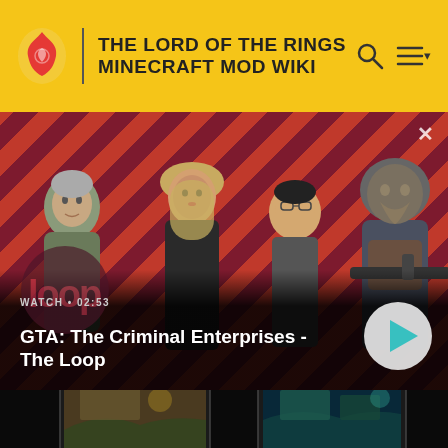THE LORD OF THE RINGS MINECRAFT MOD WIKI
[Figure (screenshot): GTA: The Criminal Enterprises - The Loop video banner with characters on diagonal striped red/dark background, with play button and watch indicator showing 02:53]
[Figure (screenshot): Second video panel showing gaming monitors with dark backgrounds displaying game footage]